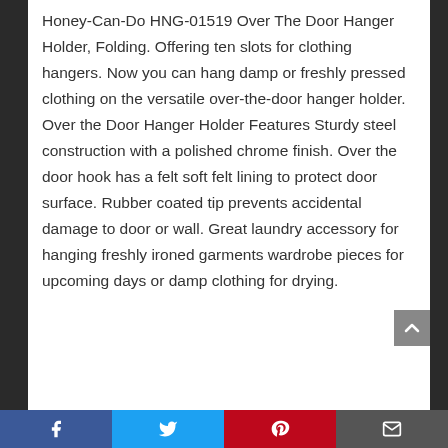Honey-Can-Do HNG-01519 Over The Door Hanger Holder, Folding. Offering ten slots for clothing hangers. Now you can hang damp or freshly pressed clothing on the versatile over-the-door hanger holder. Over the Door Hanger Holder Features Sturdy steel construction with a polished chrome finish. Over the door hook has a felt soft felt lining to protect door surface. Rubber coated tip prevents accidental damage to door or wall. Great laundry accessory for hanging freshly ironed garments wardrobe pieces for upcoming days or damp clothing for drying.
Facebook | Twitter | Pinterest | Email